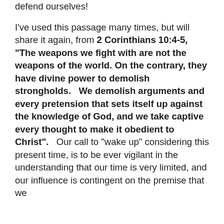defend ourselves!
I've used this passage many times, but will share it again, from 2 Corinthians 10:4-5, “The weapons we fight with are not the weapons of the world. On the contrary, they have divine power to demolish strongholds.   We demolish arguments and every pretension that sets itself up against the knowledge of God, and we take captive every thought to make it obedient to Christ”.   Our call to “wake up” considering this present time, is to be ever vigilant in the understanding that our time is very limited, and our influence is contingent on the premise that we